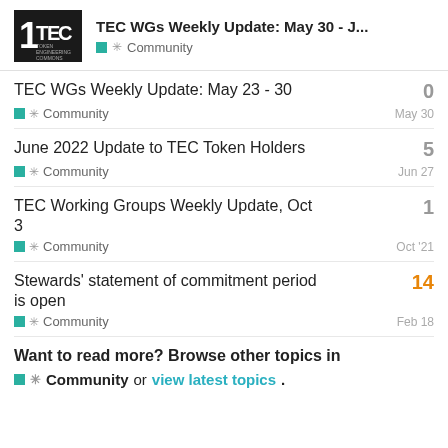TEC WGs Weekly Update: May 30 - J... | Community
TEC WGs Weekly Update: May 23 - 30 | Community | May 30 | 0
June 2022 Update to TEC Token Holders | Community | Jun 27 | 5
TEC Working Groups Weekly Update, Oct 3 | Community | Oct '21 | 1
Stewards' statement of commitment period is open | Community | Feb 18 | 14
Want to read more? Browse other topics in Community or view latest topics.